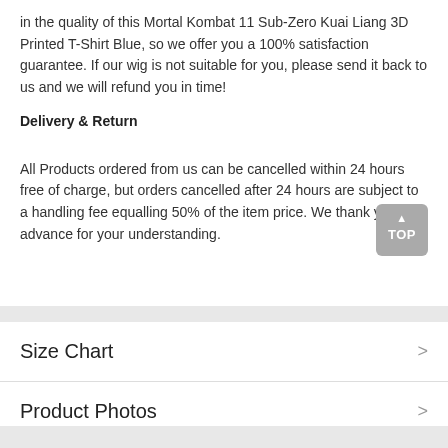in the quality of this Mortal Kombat 11 Sub-Zero Kuai Liang 3D Printed T-Shirt Blue, so we offer you a 100% satisfaction guarantee. If our wig is not suitable for you, please send it back to us and we will refund you in time!
Delivery & Return
All Products ordered from us can be cancelled within 24 hours free of charge, but orders cancelled after 24 hours are subject to a handling fee equalling 50% of the item price. We thank you in advance for your understanding.
Size Chart
Product Photos